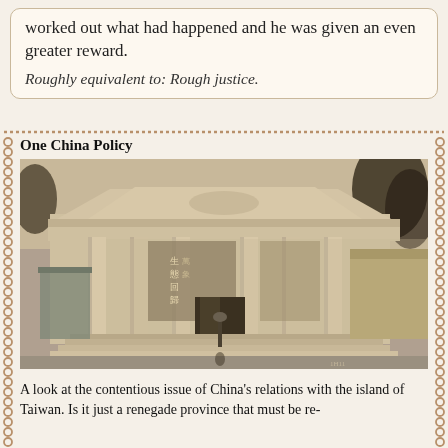worked out what had happened and he was given an even greater reward.
Roughly equivalent to: Rough justice.
One China Policy
[Figure (photo): Black and white / sepia photograph of a classical neoclassical building with large columns, pediment with relief sculptures, banners hanging between columns with Chinese characters, trees in background, steps leading to entrance.]
A look at the contentious issue of China's relations with the island of Taiwan. Is it just a renegade province that must be re-